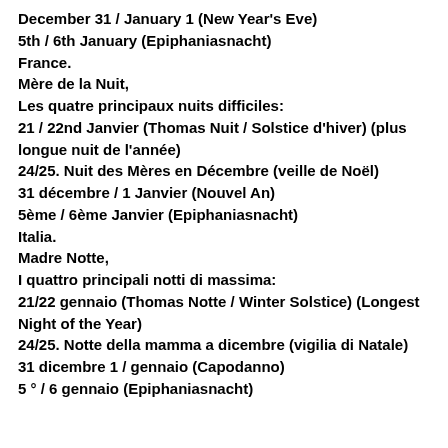December 31 / January 1 (New Year's Eve)
5th / 6th January (Epiphaniasnacht)
France.
Mère de la Nuit,
Les quatre principaux nuits difficiles:
21 / 22nd Janvier (Thomas Nuit / Solstice d'hiver) (plus longue nuit de l'année)
24/25. Nuit des Mères en Décembre (veille de Noël)
31 décembre / 1 Janvier (Nouvel An)
5ème / 6ème Janvier (Epiphaniasnacht)
Italia.
Madre Notte,
I quattro principali notti di massima:
21/22 gennaio (Thomas Notte / Winter Solstice) (Longest Night of the Year)
24/25. Notte della mamma a dicembre (vigilia di Natale)
31 dicembre 1 / gennaio (Capodanno)
5 ° / 6 gennaio (Epiphaniasnacht)